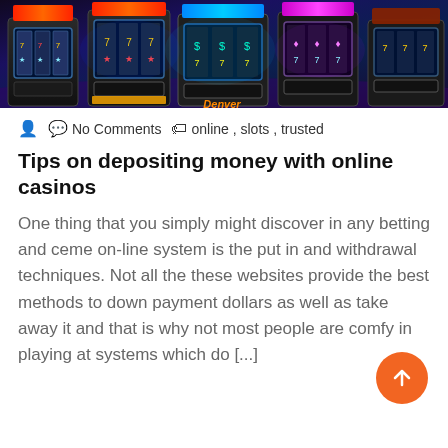[Figure (photo): Row of colorful slot machines in a casino, lit with neon lights in dark setting, showing screens and reels]
No Comments   online , slots , trusted
Tips on depositing money with online casinos
One thing that you simply might discover in any betting and ceme on-line system is the put in and withdrawal techniques. Not all the these websites provide the best methods to down payment dollars as well as take away it and that is why not most people are comfy in playing at systems which do [...]